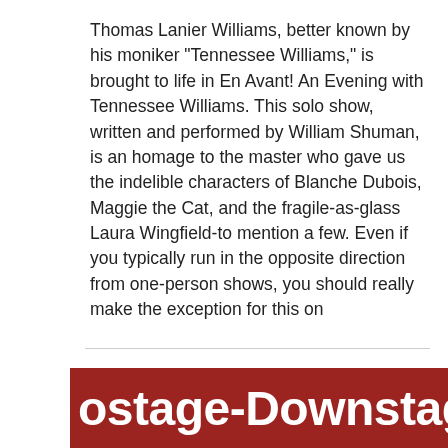Thomas Lanier Williams, better known by his moniker "Tennessee Williams," is brought to life in En Avant! An Evening with Tennessee Williams. This solo show, written and performed by William Shuman, is an homage to the master who gave us the indelible characters of Blanche Dubois, Maggie the Cat, and the fragile-as-glass Laura Wingfield-to mention a few. Even if you typically run in the opposite direction from one-person shows, you should really make the exception for this on
[Figure (other): Partially visible red banner with white bold text reading 'ostage-Downstag' (cropped on both sides), suggesting 'Upstage-Downstage' or similar theater-related branding]